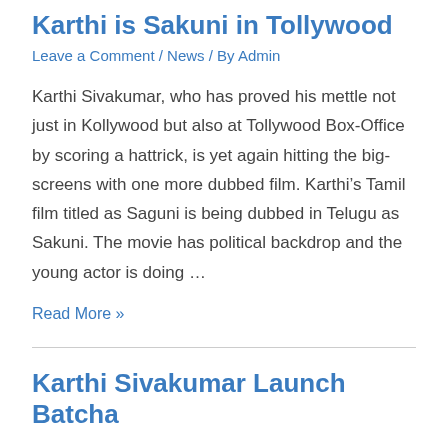Karthi is Sakuni in Tollywood
Leave a Comment / News / By Admin
Karthi Sivakumar, who has proved his mettle not just in Kollywood but also at Tollywood Box-Office by scoring a hattrick, is yet again hitting the big-screens with one more dubbed film. Karthi’s Tamil film titled as Saguni is being dubbed in Telugu as Sakuni. The movie has political backdrop and the young actor is doing …
Read More »
Karthi Sivakumar Launch Batcha